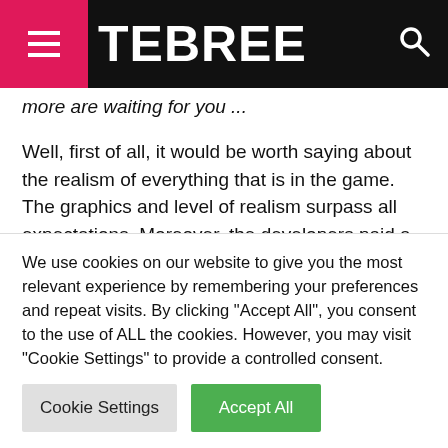TEBREE
more are waiting for you ...
Well, first of all, it would be worth saying about the realism of everything that is in the game. The graphics and level of realism surpass all expectations. Moreover, the developers paid a lot of attention not only to the races themselves, but also to the management and everything that happens outside the track.
We use cookies on our website to give you the most relevant experience by remembering your preferences and repeat visits. By clicking "Accept All", you consent to the use of ALL the cookies. However, you may visit "Cookie Settings" to provide a controlled consent.